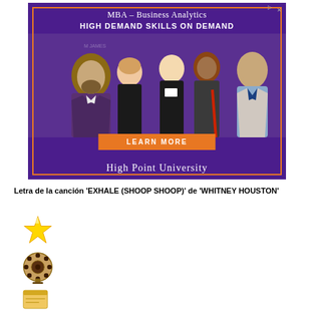[Figure (photo): Advertisement banner for High Point University MBA Business Analytics program. Purple background with orange border. Shows group of business professionals networking. Text reads 'MBA – Business Analytics', 'HIGH DEMAND SKILLS ON DEMAND', 'LEARN MORE' button, and 'HIGH POINT UNIVERSITY' at bottom.]
Letra de la canción 'EXHALE (SHOOP SHOOP)' de 'WHITNEY HOUSTON'
[Figure (illustration): Three emoji/icon images stacked vertically: a gold star emoji, a film reel emoji, and a music/ticket icon.]